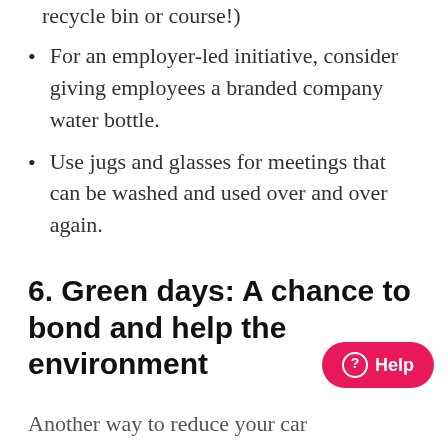recycle bin or course!)
For an employer-led initiative, consider giving employees a branded company water bottle.
Use jugs and glasses for meetings that can be washed and used over and over again.
6. Green days: A chance to bond and help the environment
Another way to reduce your carbon footprint is by off-setting your current activities. This has become quite popular with carbon-offset flights. But